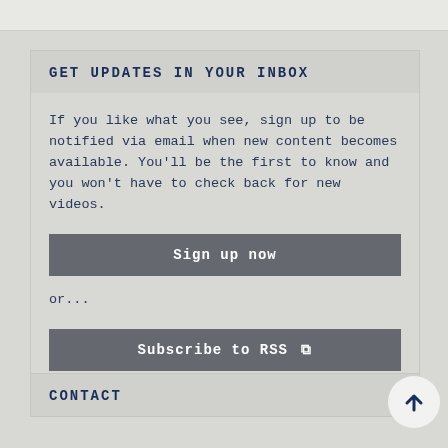GET UPDATES IN YOUR INBOX
If you like what you see, sign up to be notified via email when new content becomes available. You'll be the first to know and you won't have to check back for new videos.
Sign up now
or...
Subscribe to RSS
CONTACT